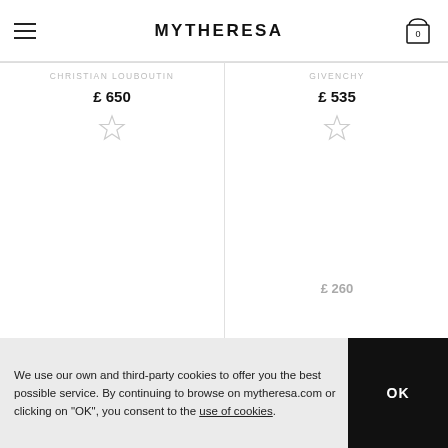MYTHERESA
CHRISTIAN LOUBOUTIN
£ 650
GIVENCHY
£ 535
£ 260
We use our own and third-party cookies to offer you the best possible service. By continuing to browse on mytheresa.com or clicking on "OK", you consent to the use of cookies.